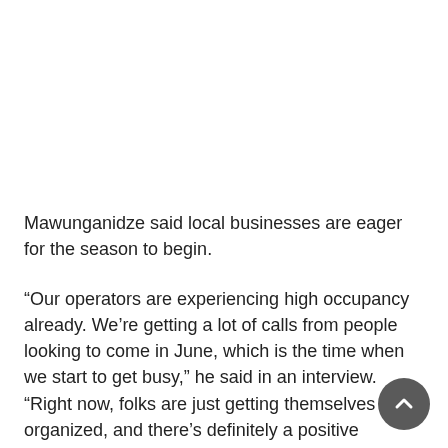Mawunganidze said local businesses are eager for the season to begin.
“Our operators are experiencing high occupancy already. We’re getting a lot of calls from people looking to come in June, which is the time when we start to get busy,” he said in an interview. “Right now, folks are just getting themselves organized, and there’s definitely a positive buzzabout the potential for more tourists coming in.”